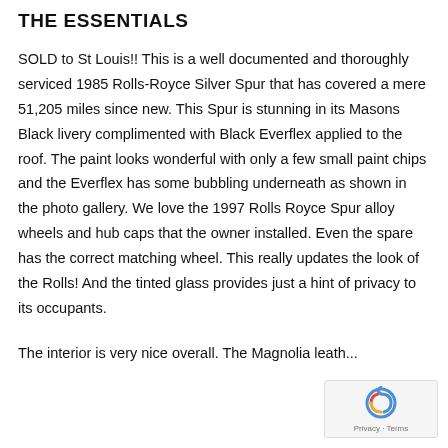THE ESSENTIALS
SOLD to St Louis!! This is a well documented and thoroughly serviced 1985 Rolls-Royce Silver Spur that has covered a mere 51,205 miles since new. This Spur is stunning in its Masons Black livery complimented with Black Everflex applied to the roof. The paint looks wonderful with only a few small paint chips and the Everflex has some bubbling underneath as shown in the photo gallery. We love the 1997 Rolls Royce Spur alloy wheels and hub caps that the owner installed. Even the spare has the correct matching wheel. This really updates the look of the Rolls! And the tinted glass provides just a hint of privacy to its occupants.
The interior is very nice overall. The Magnolia leath...